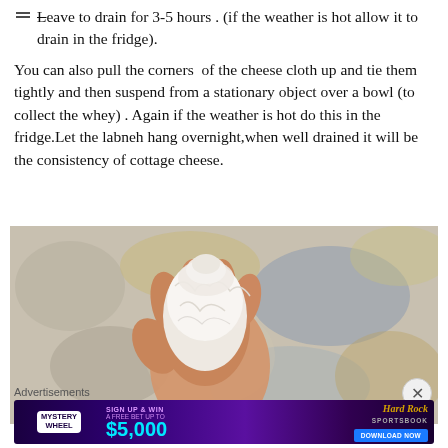Leave to drain for 3-5 hours . (if the weather is hot allow it to drain in the fridge).
You can also pull the corners  of the cheese cloth up and tie them tightly and then suspend from a stationary object over a bowl (to collect the whey) . Again if the weather is hot do this in the fridge.Let the labneh hang overnight,when well drained it will be the consistency of cottage cheese.
[Figure (photo): A hand gripping and squeezing a white cheesecloth bundle, with a mottled blue and yellow textured wall in the background.]
Advertisements
[Figure (other): Hard Rock Sportsbook advertisement banner: Mystery Wheel - Sign Up & Win a Free Bet Up To $5,000 - Download Now button]